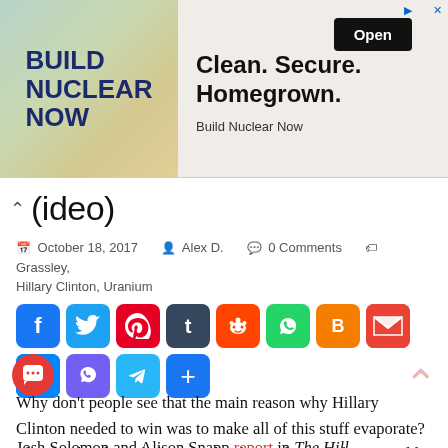[Figure (screenshot): Advertisement banner for 'Build Nuclear Now' with text 'Clean. Secure. Homegrown.' and an Open button]
(ideo)
October 18, 2017  Alex D.  0 Comments  Grassley, Hillary Clinton, Uranium
[Figure (infographic): Social sharing buttons: Facebook, Twitter, Pinterest, Tumblr, Reddit, WhatsApp, Blogger, Gmail, Messenger, Viber, Telegram, Share]
Why don't people see that the main reason why Hillary Clinton needed to win was to make all of this stuff evaporate? That is why she is fighting so hard to make President Donald J. Trump look bad. By doing so, it provides a distraction for her crimes.
Josh Solomon and Alison Snapp report in The Hill